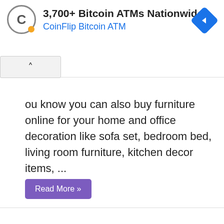[Figure (screenshot): Advertisement banner for CoinFlip Bitcoin ATM showing logo, headline '3,700+ Bitcoin ATMs Nationwide', subline 'CoinFlip Bitcoin ATM', and a blue diamond navigation icon on the right.]
ou know you can also buy furniture online for your home and office decoration like sofa set, bedroom bed, living room furniture, kitchen decor items, ...
Read More »
Best Home Decor Websites for elegant Home Decor Ideas
Lifestyle
[Figure (photo): Black image block at bottom of page representing a partially loaded or dark article image.]